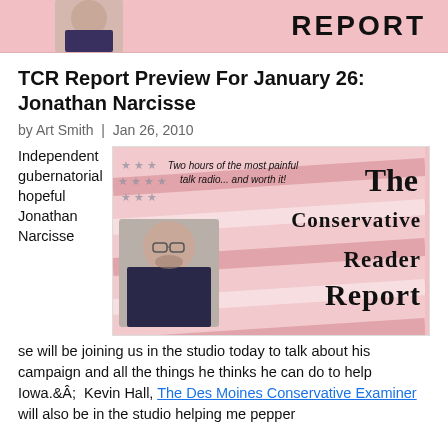[Figure (illustration): Top banner with face photo on left and REPORT text in large uppercase on pink/red background]
TCR Report Preview For January 26: Jonathan Narcisse
by Art Smith | Jan 26, 2010
Independent gubernatorial hopeful Jonathan Narcisse will be joining us in the studio today to talk about his campaign and all the things he thinks he can do to help Iowa.Â  Kevin Hall, The Des Moines Conservative Examiner will also be in the studio helping me pepper
[Figure (illustration): The Conservative Reader Report banner with flag background, tagline 'Two hours of the most painful talk radio... and worth it!', and photo of man with glasses]